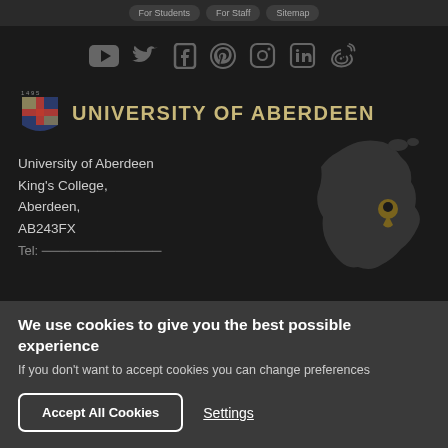For Students  For Staff  Sitemap
[Figure (other): Row of social media icons: YouTube, Twitter, Facebook, Pinterest, Instagram, LinkedIn, Weibo]
[Figure (logo): University of Aberdeen crest logo with text UNIVERSITY OF ABERDEEN and year 1495]
University of Aberdeen
King's College,
Aberdeen,
AB243FX
[Figure (map): Dark silhouette map of Scotland with a gold location pin marker]
We use cookies to give you the best possible experience
If you don't want to accept cookies you can change preferences
Accept All Cookies
Settings